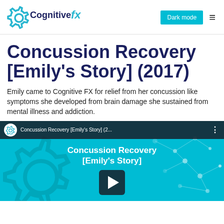[Figure (logo): CognitiveFX logo with teal gear icon and italic fx text]
Concussion Recovery [Emily's Story] (2017)
Emily came to Cognitive FX for relief from her concussion like symptoms she developed from brain damage she sustained from mental illness and addiction.
[Figure (screenshot): YouTube video thumbnail showing 'Concussion Recovery [Emily's Story]' with CognitiveFX branding, teal background with gear and network graphics, and a play button]